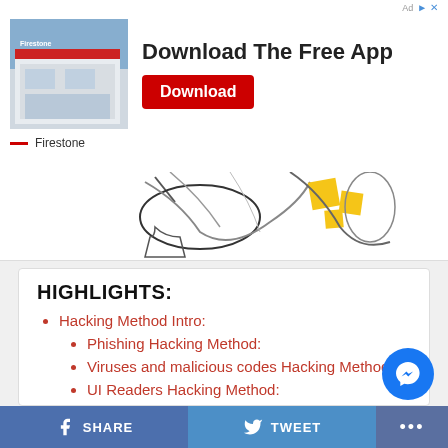[Figure (screenshot): Firestone advertisement banner with store photo, 'Download The Free App' text and red Download button]
[Figure (illustration): Partial illustration showing people using devices, yellow highlighted elements visible]
HIGHLIGHTS:
Hacking Method Intro:
Phishing Hacking Method:
Viruses and malicious codes Hacking Method:
UI Readers Hacking Method:
SHARE   TWEET   ...